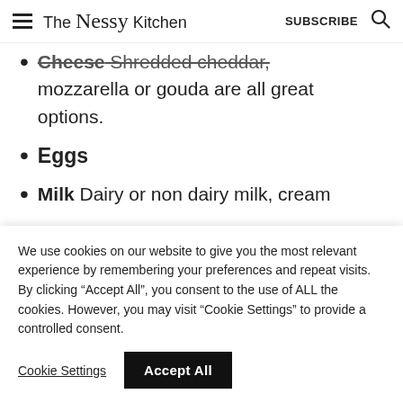The Nessy Kitchen  SUBSCRIBE
Cheese  Shredded cheddar, mozzarella or gouda are all great options.
Eggs
Milk  Dairy or non dairy milk, cream
We use cookies on our website to give you the most relevant experience by remembering your preferences and repeat visits. By clicking “Accept All”, you consent to the use of ALL the cookies. However, you may visit "Cookie Settings" to provide a controlled consent.
Cookie Settings  Accept All